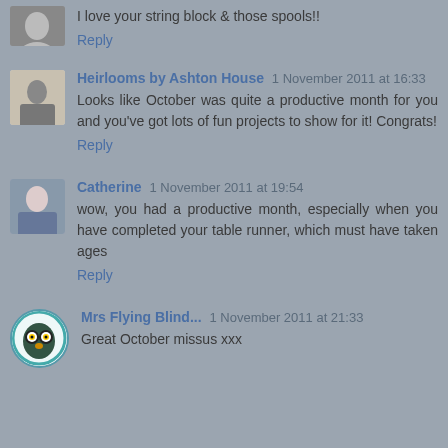I love your string block & those spools!!
Reply
Heirlooms by Ashton House 1 November 2011 at 16:33
Looks like October was quite a productive month for you and you've got lots of fun projects to show for it! Congrats!
Reply
Catherine 1 November 2011 at 19:54
wow, you had a productive month, especially when you have completed your table runner, which must have taken ages
Reply
Mrs Flying Blind... 1 November 2011 at 21:33
Great October missus xxx